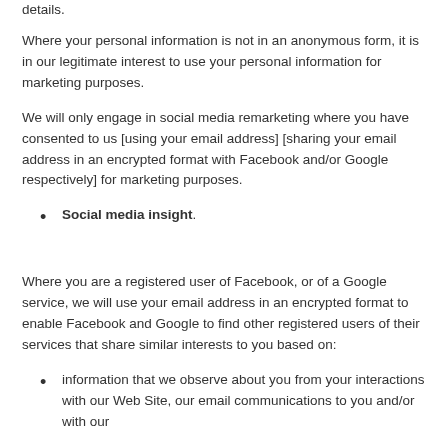details.
Where your personal information is not in an anonymous form, it is in our legitimate interest to use your personal information for marketing purposes.
We will only engage in social media remarketing where you have consented to us [using your email address] [sharing your email address in an encrypted format with Facebook and/or Google respectively] for marketing purposes.
Social media insight.
Where you are a registered user of Facebook, or of a Google service, we will use your email address in an encrypted format to enable Facebook and Google to find other registered users of their services that share similar interests to you based on:
information that we observe about you from your interactions with our Web Site, our email communications to you and/or with our